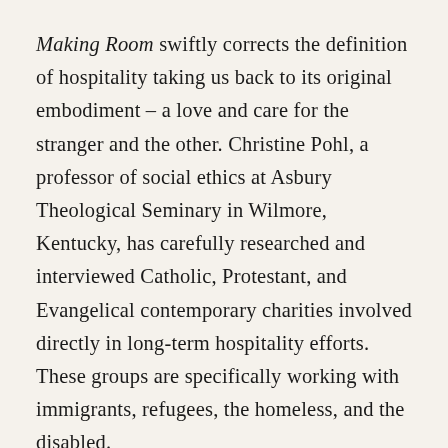Making Room swiftly corrects the definition of hospitality taking us back to its original embodiment – a love and care for the stranger and the other. Christine Pohl, a professor of social ethics at Asbury Theological Seminary in Wilmore, Kentucky, has carefully researched and interviewed Catholic, Protestant, and Evangelical contemporary charities involved directly in long-term hospitality efforts. These groups are specifically working with immigrants, refugees, the homeless, and the disabled.
“...the experience of having been a stranger, or of being a vulnerable person